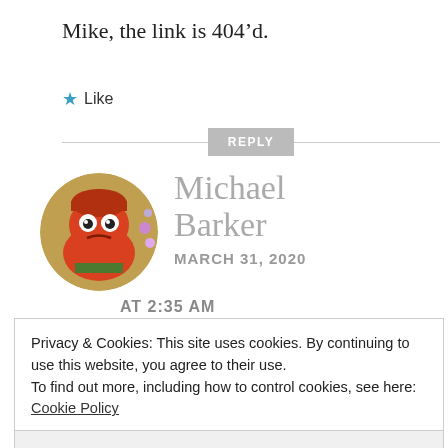Mike, the link is 404’d.
★ Like
REPLY
[Figure (photo): Circular avatar showing an illustrated red cartoon character resembling an angry crab or creature with googly eyes, wearing a bandana.]
Michael Barker
MARCH 31, 2020 AT 2:35 AM
Privacy & Cookies: This site uses cookies. By continuing to use this website, you agree to their use.
To find out more, including how to control cookies, see here:
Cookie Policy
Close and accept
didn’t recognize it. Fixed